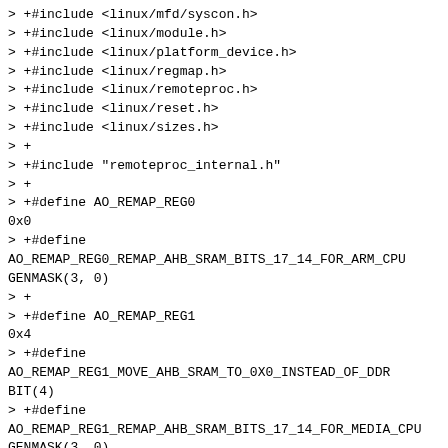> +#include <linux/mfd/syscon.h>
> +#include <linux/module.h>
> +#include <linux/platform_device.h>
> +#include <linux/regmap.h>
> +#include <linux/remoteproc.h>
> +#include <linux/reset.h>
> +#include <linux/sizes.h>
> +
> +#include "remoteproc_internal.h"
> +
> +#define AO_REMAP_REG0                                          0x0
> +#define
AO_REMAP_REG0_REMAP_AHB_SRAM_BITS_17_14_FOR_ARM_CPU
GENMASK(3, 0)
> +
> +#define AO_REMAP_REG1                                          0x4
> +#define
AO_REMAP_REG1_MOVE_AHB_SRAM_TO_0X0_INSTEAD_OF_DDR
BIT(4)
> +#define
AO_REMAP_REG1_REMAP_AHB_SRAM_BITS_17_14_FOR_MEDIA_CPU
GENMASK(3, 0)
> +
> +#define AO_CPU_CNTL                                            0x0
> +#define AO_CPU_CNTL_AHB_SRAM_BITS_31_20
GENMASK(28, 16)
> +#define AO_CPU_CNTL_HALT